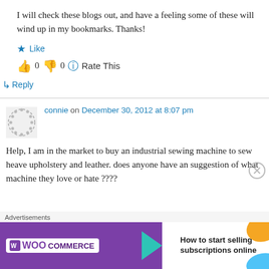I will check these blogs out, and have a feeling some of these will wind up in my bookmarks. Thanks!
★ Like
👍 0 👎 0 ℹ Rate This
↳ Reply
connie on December 30, 2012 at 8:07 pm
Help, I am in the market to buy an industrial sewing machine to sew heave upholstery and leather. does anyone have an suggestion of what machine they love or hate ????
[Figure (screenshot): WooCommerce advertisement banner: purple background with WooCommerce logo, teal arrow, and text 'How to start selling subscriptions online' with orange and blue decorative shapes]
Advertisements